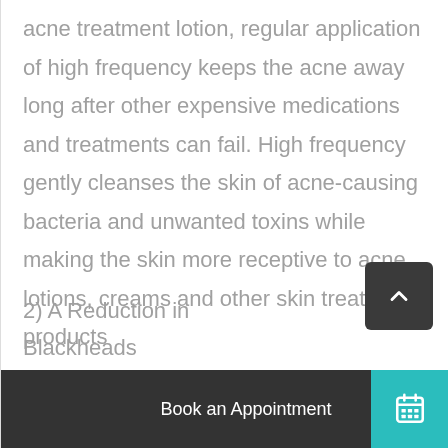acne treatment lotion, regular application of high frequency keeps the acne away long after other expensive medications and treatments can fail. High frequency gently cleanses the skin of acne-causing bacteria and unwanted toxins while making the skin more receptive to acne lotions, creams and other skin treatment products
2) A Reduction in Blackheads